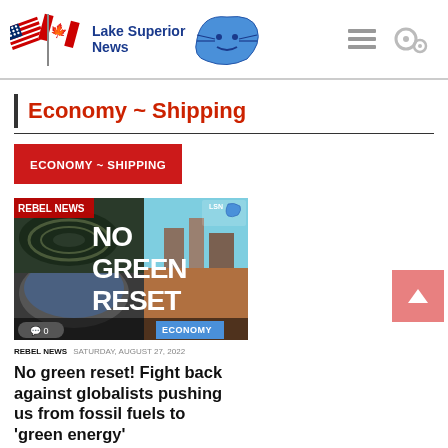Lake Superior News
Economy ~ Shipping
ECONOMY ~ SHIPPING
[Figure (photo): News article thumbnail showing industrial/mining site with overlay text 'NO GREEN RESET' and ECONOMY tag, LSN logo top right, Rebel News branding top left. Comment bubble with 0 comments.]
REBEL NEWS  SATURDAY, AUGUST 27, 2022
No green reset! Fight back against globalists pushing us from fossil fuels to 'green energy'